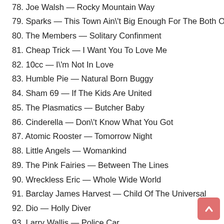78. Joe Walsh — Rocky Mountain Way
79. Sparks — This Town Ain't Big Enough For The Both Of Us
80. The Members — Solitary Confinment
81. Cheap Trick — I Want You To Love Me
82. 10cc — I'm Not In Love
83. Humble Pie — Natural Born Buggy
84. Sham 69 — If The Kids Are United
85. The Plasmatics — Butcher Baby
86. Cinderella — Don't Know What You Got
87. Atomic Rooster — Tomorrow Night
88. Little Angels — Womankind
89. The Pink Fairies — Between The Lines
90. Wreckless Eric — Whole Wide World
91. Barclay James Harvest — Child Of The Universal
92. Dio — Holly Diver
93. Larry Wallis — Police Car
94. Mungo Jerry — Baby Jump
95. Tesla — Love Song
96. Gary Moore With Phil Lynott — Parisienne Walkways
97. Motor Boys Motor — Drive Friendly
98. Stray — All In Your Mind